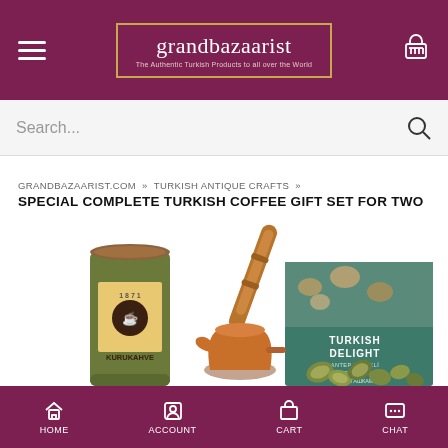grandbazaarist — The Authentic Turkish Products to all over the World
Search...
GRANDBAZAARIST.COM » TURKISH ANTIQUE CRAFTS »
SPECIAL COMPLETE TURKISH COFFEE GIFT SET FOR TWO
[Figure (photo): Product photo showing a Turkish coffee gift set including a green Kurukahveci coffee tin, a copper cezve (coffee pot) with wooden handle, a Turkish delight box with pistachio flavor, and scattered pistachios on a white background.]
HOME  ACCOUNT  CART  CHAT